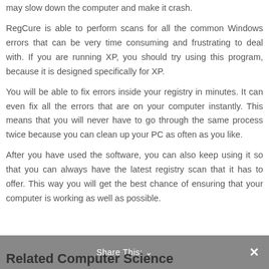may slow down the computer and make it crash.
RegCure is able to perform scans for all the common Windows errors that can be very time consuming and frustrating to deal with. If you are running XP, you should try using this program, because it is designed specifically for XP.
You will be able to fix errors inside your registry in minutes. It can even fix all the errors that are on your computer instantly. This means that you will never have to go through the same process twice because you can clean up your PC as often as you like.
After you have used the software, you can also keep using it so that you can always have the latest registry scan that it has to offer. This way you will get the best chance of ensuring that your computer is working as well as possible.
Share This: ∨  ✕
Related Computer Science